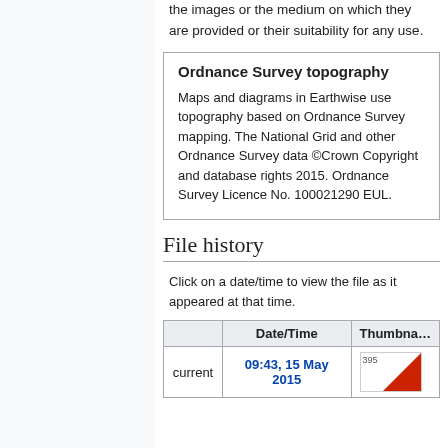the images or the medium on which they are provided or their suitability for any use.
Ordnance Survey topography
Maps and diagrams in Earthwise use topography based on Ordnance Survey mapping. The National Grid and other Ordnance Survey data ©Crown Copyright and database rights 2015. Ordnance Survey Licence No. 100021290 EUL.
File history
Click on a date/time to view the file as it appeared at that time.
|  | Date/Time | Thumbnail |
| --- | --- | --- |
| current | 09:43, 15 May 2015 | [thumbnail] |